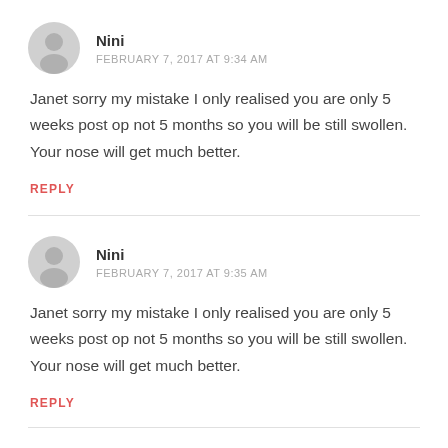Nini
FEBRUARY 7, 2017 AT 9:34 AM
Janet sorry my mistake I only realised you are only 5 weeks post op not 5 months so you will be still swollen. Your nose will get much better.
REPLY
Nini
FEBRUARY 7, 2017 AT 9:35 AM
Janet sorry my mistake I only realised you are only 5 weeks post op not 5 months so you will be still swollen. Your nose will get much better.
REPLY